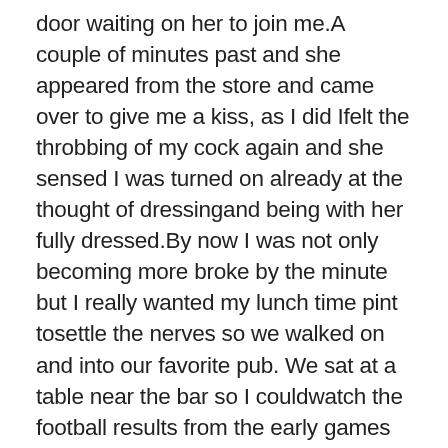door waiting on her to join me.A couple of minutes past and she appeared from the store and came over to give me a kiss, as I did Ifelt the throbbing of my cock again and she sensed I was turned on already at the thought of dressingand being with her fully dressed.By now I was not only becoming more broke by the minute but I really wanted my lunch time pint tosettle the nerves so we walked on and into our favorite pub. We sat at a table near the bar so I couldwatch the football results from the early games coming in. As I sat nursing my beer a waitress by thename of Emma we both knew came over to say hi and Becky just could not resist telling her we weregoing to do the Rocky Horror evening. To my surprise she told us that she and her boyfriend weregoing to and she was also going to dress him up.For me this started to sound interesting and Becky seemed to know that I would be more chilled if wewent as a four some of sorts, and to be honest me and Emma had a bit of history as we had